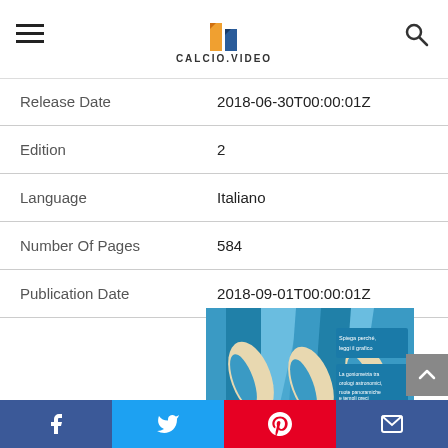CALCIO.VIDEO
| Release Date | 2018-06-30T00:00:01Z |
| Edition | 2 |
| Language | Italiano |
| Number Of Pages | 584 |
| Publication Date | 2018-09-01T00:00:01Z |
[Figure (photo): Book cover showing blue architectural/geometric design with text panels reading 'Spiega perché, leggi il grafico', 'La goniometria tra orologi astronomici, ruote panoramiche e templi greci', 'Un passo alla volta']
Facebook | Twitter | Pinterest | Email